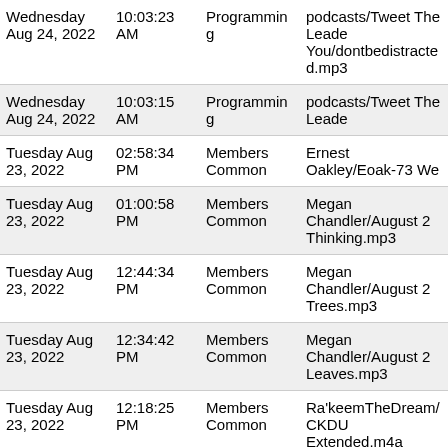| Date | Time | Type | File |
| --- | --- | --- | --- |
| Wednesday Aug 24, 2022 | 10:03:23 AM | Programming | podcasts/Tweet The Leade You/dontbedistracted.mp3 |
| Wednesday Aug 24, 2022 | 10:03:15 AM | Programming | podcasts/Tweet The Leade |
| Tuesday Aug 23, 2022 | 02:58:34 PM | Members Common | Ernest Oakley/Eoak-73 We |
| Tuesday Aug 23, 2022 | 01:00:58 PM | Members Common | Megan Chandler/August 2 Thinking.mp3 |
| Tuesday Aug 23, 2022 | 12:44:34 PM | Members Common | Megan Chandler/August 2 Trees.mp3 |
| Tuesday Aug 23, 2022 | 12:34:42 PM | Members Common | Megan Chandler/August 2 Leaves.mp3 |
| Tuesday Aug 23, 2022 | 12:18:25 PM | Members Common | Ra'keemTheDream/CKDU Extended.m4a |
| Tuesday Aug 23, 2022 | 12:18:24 PM | Members Common | Ra'keemTheDream/CKDU Flatliners.m4a |
| Tuesday |  |  |  |